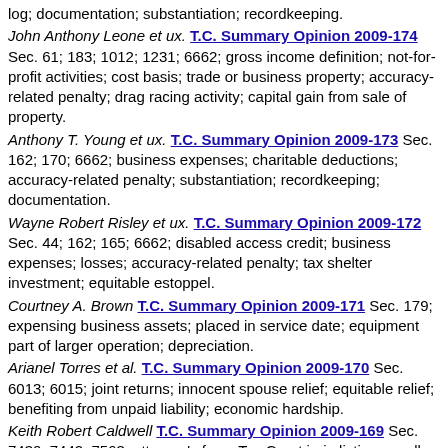log; documentation; substantiation; recordkeeping.
John Anthony Leone et ux. T.C. Summary Opinion 2009-174 Sec. 61; 183; 1012; 1231; 6662; gross income definition; not-for-profit activities; cost basis; trade or business property; accuracy-related penalty; drag racing activity; capital gain from sale of property.
Anthony T. Young et ux. T.C. Summary Opinion 2009-173 Sec. 162; 170; 6662; business expenses; charitable deductions; accuracy-related penalty; substantiation; recordkeeping; documentation.
Wayne Robert Risley et ux. T.C. Summary Opinion 2009-172 Sec. 44; 162; 165; 6662; disabled access credit; business expenses; losses; accuracy-related penalty; tax shelter investment; equitable estoppel.
Courtney A. Brown T.C. Summary Opinion 2009-171 Sec. 179; expensing business assets; placed in service date; equipment part of larger operation; depreciation.
Arianel Torres et al. T.C. Summary Opinion 2009-170 Sec. 6013; 6015; joint returns; innocent spouse relief; equitable relief; benefiting from unpaid liability; economic hardship.
Keith Robert Caldwell T.C. Summary Opinion 2009-169 Sec. 7430; 7442; 7563; attorney's fees; Tax Court jurisdiction; small Tax Court cases; denied request for apology from IRS; no litigation costs; failure to exhaust administrative options.
Bernice E. Akanno T.C. Summary Opinion 2009-168 Sec. 61; 151; 274; 6662; 6664; gross income definition; dependent